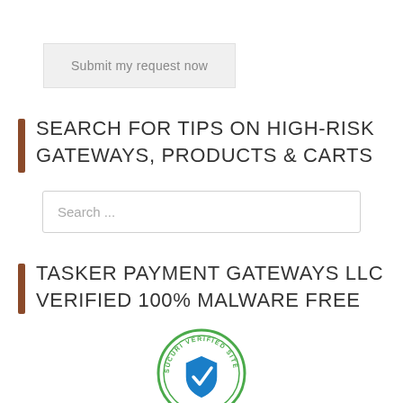Submit my request now
SEARCH FOR TIPS ON HIGH-RISK GATEWAYS, PRODUCTS & CARTS
Search ...
TASKER PAYMENT GATEWAYS LLC VERIFIED 100% MALWARE FREE
[Figure (logo): Sucuri Verified Site security badge - circular badge with shield icon and text 'SUCURI VERIFIED SITE' around the border]